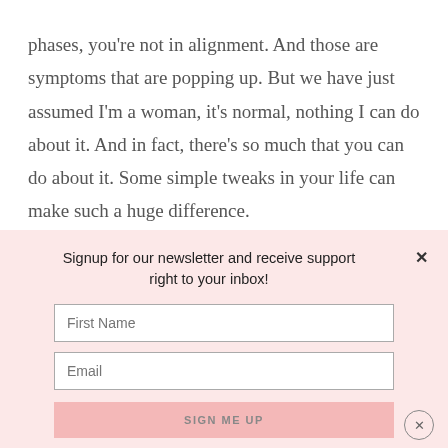phases, you're not in alignment. And those are symptoms that are popping up. But we have just assumed I'm a woman, it's normal, nothing I can do about it. And in fact, there's so much that you can do about it. Some simple tweaks in your life can make such a huge difference.
Signup for our newsletter and receive support right to your inbox!
[Figure (screenshot): Newsletter signup form with First Name and Email input fields and a SIGN ME UP button on a pink background]